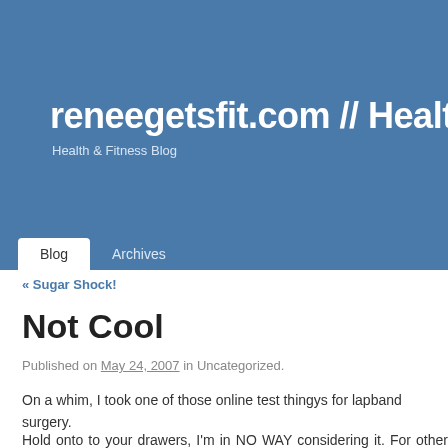[Figure (screenshot): Blue header banner of the website reneegetsfit.com with site title and subtitle]
reneegetsfit.com // Health &
Health & Fitness Blog
Blog | Archives
« Sugar Shock!
Not Cool
Published on May 24, 2007 in Uncategorized.
On a whim, I took one of those online test thingys for lapband surgery.
Hold onto to your drawers, I'm in NO WAY considering it. For other purposes and wanted to check out the link. I saw where I could plug in height/weight/a "qualify".
I did.